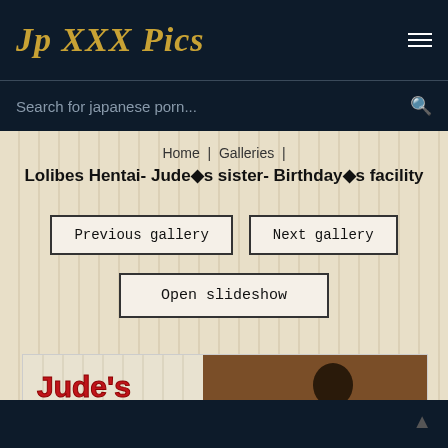Jp XXX Pics
Search for japanese porn...
Home | Galleries |
Lolibes Hentai- Jude�s sister- Birthday�s facility
Previous gallery
Next gallery
Open slideshow
[Figure (screenshot): Partial view of anime/hentai gallery image showing stylized text 'Jude's sister' in red on a cream background with a figure visible on the right]